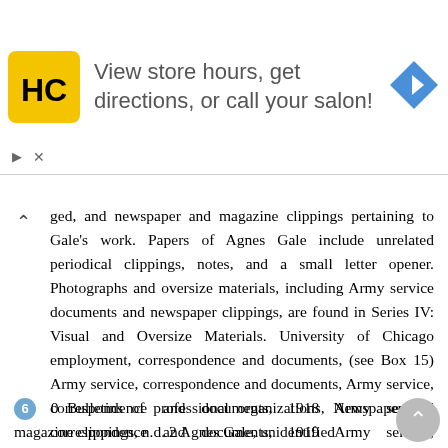[Figure (other): Advertisement banner with HC hair salon logo (black H and C letters in yellow circle/square), text 'View store hours, get directions, or call your salon!', and a blue navigation arrow icon on the right.]
ged, and newspaper and magazine clippings pertaining to Gale's work. Papers of Agnes Gale include unrelated periodical clippings, notes, and a small letter opener. Photographs and oversize materials, including Army service documents and newspaper clippings, are found in Series IV: Visual and Oversize Materials. University of Chicago employment, correspondence and documents, (see Box 15) Army service, correspondence and documents, Army service, correspondence and documents, 1918 Army service, correspondence and documents, 1919 Army service, correspondence and documents, Army service, correspondence and documents, n.d. University of Chicago War Service, reprints, 1917 Folder 9 Reprint, Henry Crew, "Henry Gordon Gale, , " Astrophysical Journal 97:2, March
6  0 Bulletins of professional organizations, Newspaper and magazine clippings, n.d. 2 Agnes Gale, unidentified